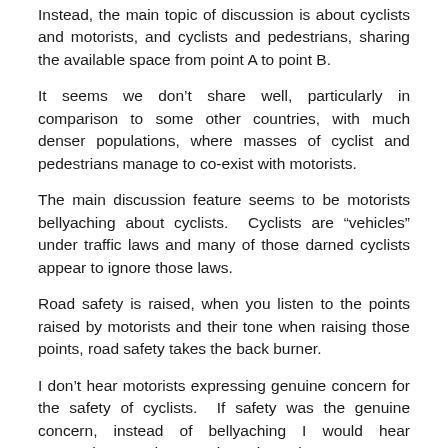Instead, the main topic of discussion is about cyclists and motorists, and cyclists and pedestrians, sharing the available space from point A to point B.
It seems we don’t share well, particularly in comparison to some other countries, with much denser populations, where masses of cyclist and pedestrians manage to co-exist with motorists.
The main discussion feature seems to be motorists bellyaching about cyclists. Cyclists are “vehicles” under traffic laws and many of those darned cyclists appear to ignore those laws.
Road safety is raised, when you listen to the points raised by motorists and their tone when raising those points, road safety takes the back burner.
I don’t hear motorists expressing genuine concern for the safety of cyclists. If safety was the genuine concern, instead of bellyaching I would hear suggestions and strategies about how to protect cyclists.